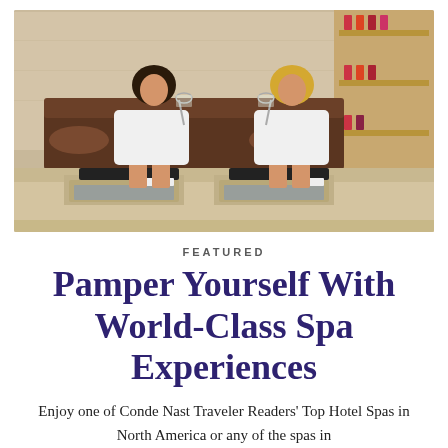[Figure (photo): Two women in white robes sitting on a spa bench, holding champagne glasses, facing each other and smiling. Pedicure basins are in front of them. Product shelves visible in the background.]
FEATURED
Pamper Yourself With World-Class Spa Experiences
Enjoy one of Conde Nast Traveler Readers' Top Hotel Spas in North America or any of the spas in